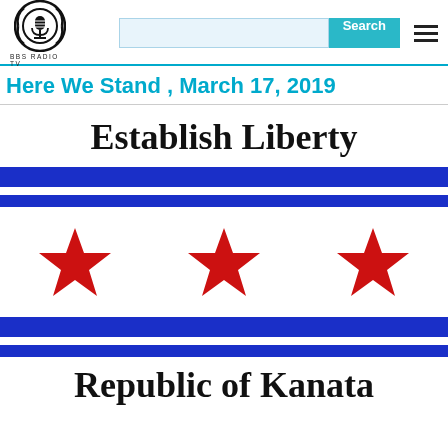BBS RADIO TV
Here We Stand , March 17, 2019
[Figure (illustration): Flag-like image with 'Establish Liberty' text at top, two thick blue horizontal stripes, three red five-pointed stars on white background, two more blue stripes, and 'Republic of Kanata' text at the bottom.]